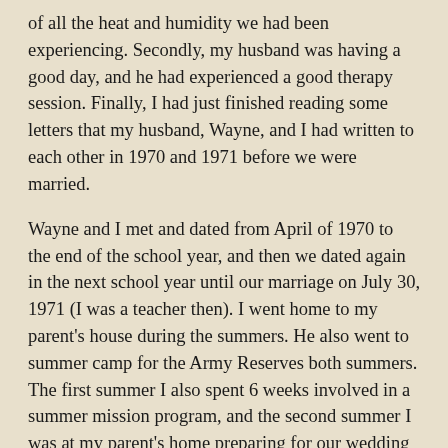of all the heat and humidity we had been experiencing. Secondly, my husband was having a good day, and he had experienced a good therapy session. Finally, I had just finished reading some letters that my husband, Wayne, and I had written to each other in 1970 and 1971 before we were married.
Wayne and I met and dated from April of 1970 to the end of the school year, and then we dated again in the next school year until our marriage on July 30, 1971 (I was a teacher then). I went home to my parent's house during the summers. He also went to summer camp for the Army Reserves both summers. The first summer I also spent 6 weeks involved in a summer mission program, and the second summer I was at my parent's home preparing for our wedding in my home town and state while he was getting things squared away in WI for our first home.
On that particular August day I was inspired to read our love letters which we had written to each other those two summers when we were separated while dating. It proved a real joy to me to reread those letters that day, and I found